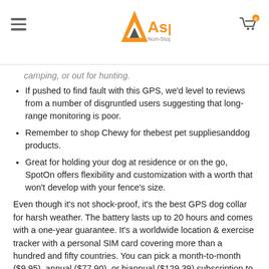Aspire — Non-Stop shopping
camping, or out for hunting.
If pushed to find fault with this GPS, we'd level to reviews from a number of disgruntled users suggesting that long-range monitoring is poor.
Remember to shop Chewy for thebest pet suppliesanddog products.
Great for holding your dog at residence or on the go, SpotOn offers flexibility and customization with a worth that won't develop with your fence's size.
Even though it's not shock-proof, it's the best GPS dog collar for harsh weather. The battery lasts up to 20 hours and comes with a one-year guarantee. It's a worldwide location & exercise tracker with a personal SIM card covering more than a hundred and fifty countries. You can pick a month-to-month ($9.95), annual ($77.90), or biannual ($129.39) subscription to use their newest network technology. The rounded cuboid design comes in a white & blue colour combo that's one hundred pc water and adventure-proof.